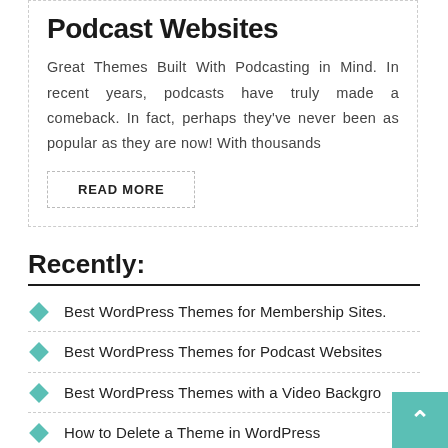Podcast Websites
Great Themes Built With Podcasting in Mind. In recent years, podcasts have truly made a comeback. In fact, perhaps they’ve never been as popular as they are now! With thousands
READ MORE
Recently:
Best WordPress Themes for Membership Sites.
Best WordPress Themes for Podcast Websites
Best WordPress Themes with a Video Backgro
How to Delete a Theme in WordPress